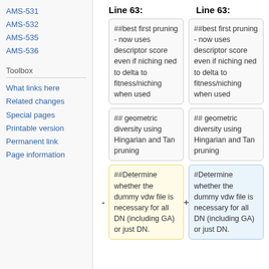AMS-531
AMS-532
AMS-535
AMS-536
Toolbox
What links here
Related changes
Special pages
Printable version
Permanent link
Page information
Line 63:
Line 63:
##best first pruning - now uses descriptor score even if niching ned to delta to fitness/niching when used
##best first pruning - now uses descriptor score even if niching ned to delta to fitness/niching when used
## geometric diversity using Hingarian and Tan pruning
## geometric diversity using Hingarian and Tan pruning
##Determine whether the dummy vdw file is necessary for all DN (including GA) or just DN.
#Determine whether the dummy vdw file is necessary for all DN (including GA) or just DN.